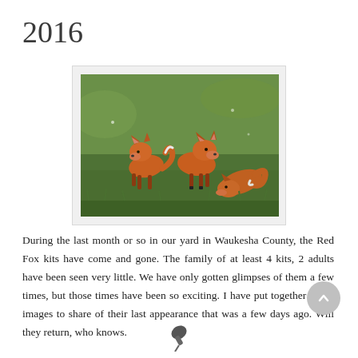2016
[Figure (photo): Three young red fox kits playing in green grass. Two kits are standing and nuzzling each other while a third is crouching/rolling on the grass. The foxes have orange-red fur with dark legs.]
During the last month or so in our yard in Waukesha County, the Red Fox kits have come and gone. The family of at least 4 kits, 2 adults have been seen very little. We have only gotten glimpses of them a few times, but those times have been so exciting. I have put together a few images to share of their last appearance that was a few days ago. Will they return, who knows.